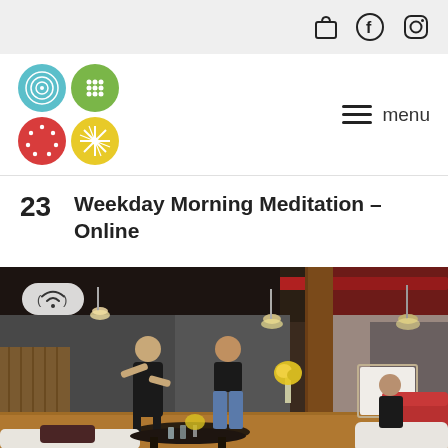Navigation bar with shopping bag icon, Facebook icon, Instagram icon, logo grid, and menu
23   Weekday Morning Meditation – Online
[Figure (photo): Interior of a modern loft-style studio space with exposed red ceiling beams, pendant lights, a wooden support column, and seating area. Two people (a woman in black and a man in jeans and black shirt) are standing and conversing, while a third person is seated in a red chair on the right. There is a yellow flower arrangement on a table in the background. A wireless/online broadcast badge icon is overlaid in the top-left of the image.]